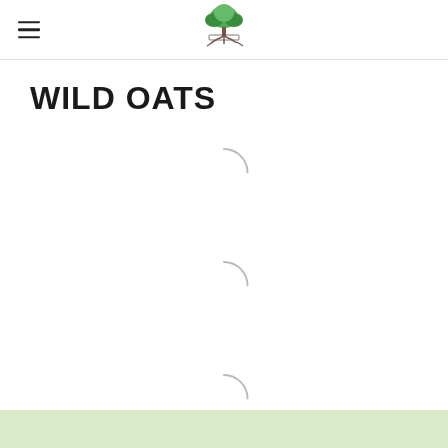[Logo: Tennessee tree/roots organization]
WILD OATS
[Figure (other): Three loading spinner arcs (partial circles) stacked vertically, indicating content loading]